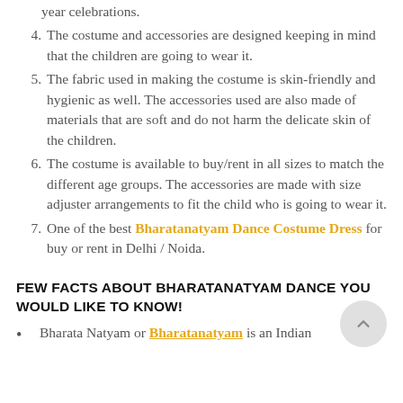year celebrations.
4. The costume and accessories are designed keeping in mind that the children are going to wear it.
5. The fabric used in making the costume is skin-friendly and hygienic as well. The accessories used are also made of materials that are soft and do not harm the delicate skin of the children.
6. The costume is available to buy/rent in all sizes to match the different age groups. The accessories are made with size adjuster arrangements to fit the child who is going to wear it.
7. One of the best Bharatanatyam Dance Costume Dress for buy or rent in Delhi / Noida.
FEW FACTS ABOUT BHARATANATYAM DANCE YOU WOULD LIKE TO KNOW!
Bharata Natyam or Bharatanatyam is an Indian